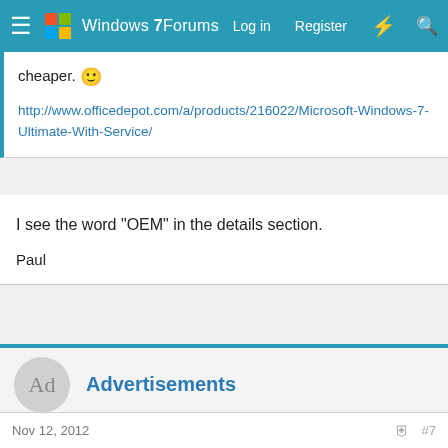Windows 7 Forums — Log in  Register
cheaper. 🙂
http://www.officedepot.com/a/products/216022/Microsoft-Windows-7-Ultimate-With-Service/
I see the word "OEM" in the details section.
Paul
Advertisements
..winston
Nov 12, 2012   #7